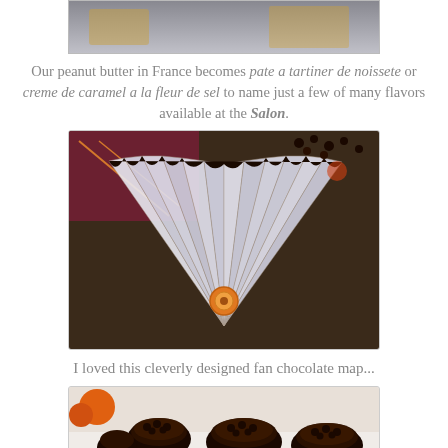[Figure (photo): Top partial photo of chocolate or food items on a display surface, cut off at top of page]
Our peanut butter in France becomes pate a tartiner de noissete or creme de caramel a la fleur de sel to name just a few of many flavors available at the Salon.
[Figure (photo): A fan-shaped chocolate map/display with dark chocolate sections fanned out, with an orange circular element in the center, set against a burgundy/brown box background]
I loved this cleverly designed fan chocolate map...
[Figure (photo): Dark chocolate truffle-like confections shaped like mushrooms or hedgehogs on a white surface, with orange fruits visible in background]